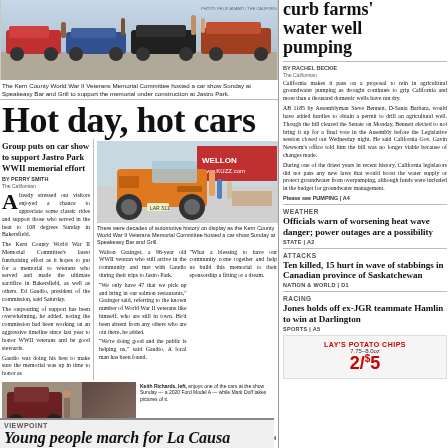[Figure (photo): Wide shot of classic cars lined up at Speakeasy Bar and Grill car show, people milling around]
The Kern County World War II Veterans Memorial Committee hosted a car show Sunday at Speakeasy Bar and Grill to support the memorial under construction at Jastro Park.
Hot day, hot cars
Group puts on car show to support Jastro Park WWII memorial effort
BY PERRY SMITH
[Figure (photo): Orange jeep on display at the car show with spectators and tents in background]
There were decades of automotive history on display as the Kern County World War II Veterans Memorial Committee hosted a car show Sunday at Speakeasy Bar and Grill.
Already stressed out visitors enjoyed a chance to appreciate some classic rides and support those who served in the heat to 108 degrees Sunday in Bakersfield. The Kern County World War II Memorial Committee's latest fundraising effort as it hopes to put for a memorial to veterans who served and "made the ultimate sacrifice" in Bakersfield, as well as others. Ed Gaudio, president of the commission, said Saturday.
[Figure (photo): Keith Richards, left, enjoys one of the cars at the show Sunday — a 2020 Ford Model A — while Mark Duff takes pictures of it.]
Keith Richards, left, enjoys one of the cars at the show Sunday — a 2020 Ford Model A — while Mark Duff takes pictures of it.
many of those who are in the effort who are still around to appreciate it.
As he talked about the importance of the timing, he joined the area of his friend,
Please see CARS | A4
curb farms' water well pumping
BY RACHEL BECKEE
California makes it pass on a proposal to rein in agricultural groundwater pumping as drought continues to grip California and more than a thousand domestic wells have run dry.
Please see PUMPING | A4
WEATHER
Officials warn of worsening heat wave danger; power outages are a possibility
STATE | A2
ATTACKS
Ten killed, 15 hurt in wave of stabbings in Canadian province of Saskatchewan
NATION & WORLD | D1
RACING
Jones holds off ex-JGR teammate Hamlin to win at Darlington
SPORTS | A5
[Figure (other): Lay's Potato Chips advertisement: 2/$5, 7.75-8.0oz]
VIEWPOINT
Young people march for La Causa